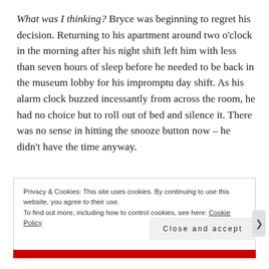What was I thinking? Bryce was beginning to regret his decision. Returning to his apartment around two o'clock in the morning after his night shift left him with less than seven hours of sleep before he needed to be back in the museum lobby for his impromptu day shift. As his alarm clock buzzed incessantly from across the room, he had no choice but to roll out of bed and silence it. There was no sense in hitting the snooze button now – he didn't have the time anyway.
Privacy & Cookies: This site uses cookies. By continuing to use this website, you agree to their use.
To find out more, including how to control cookies, see here: Cookie Policy
Close and accept